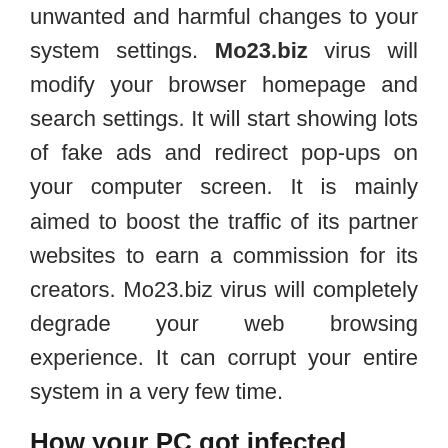unwanted and harmful changes to your system settings. Mo23.biz virus will modify your browser homepage and search settings. It will start showing lots of fake ads and redirect pop-ups on your computer screen. It is mainly aimed to boost the traffic of its partner websites to earn a commission for its creators. Mo23.biz virus will completely degrade your web browsing experience. It can corrupt your entire system in a very few time.
How your PC got infected
Mo23.biz virus mostly intrudes your PC through